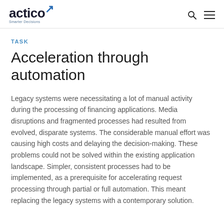actico Smarter Decisions
TASK
Acceleration through automation
Legacy systems were necessitating a lot of manual activity during the processing of financing applications. Media disruptions and fragmented processes had resulted from evolved, disparate systems. The considerable manual effort was causing high costs and delaying the decision-making. These problems could not be solved within the existing application landscape. Simpler, consistent processes had to be implemented, as a prerequisite for accelerating request processing through partial or full automation. This meant replacing the legacy systems with a contemporary solution.